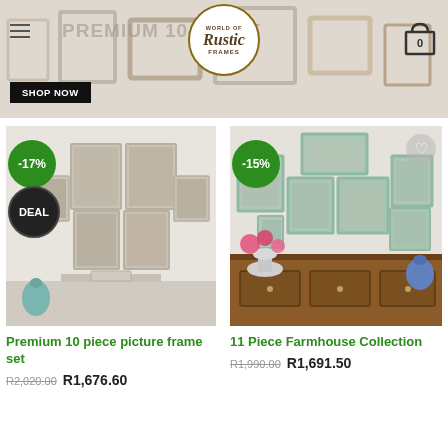[Figure (screenshot): Website header with World of Rustic Frames logo, menu icon, cart icon, banner image with photo frames, and SHOP NOW button]
[Figure (photo): Product photo of Premium 10 piece picture frame set displayed on a wall above a fireplace, with -17% discount badge and DEAL badge]
Premium 10 piece picture frame set
R2,020.00 R1,676.60
[Figure (photo): Product photo of 11 Piece Farmhouse Collection frames displayed on a table/wall, with -15% discount badge]
11 Piece Farmhouse Collection
R1,990.00 R1,691.50